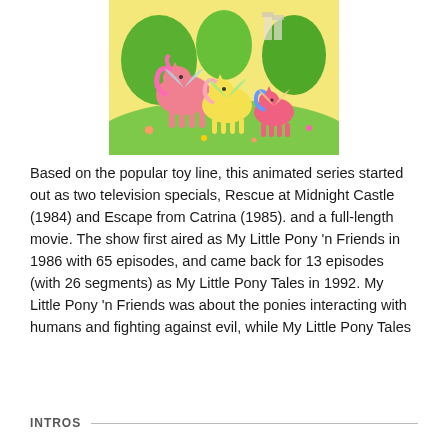[Figure (illustration): Colorful My Little Pony illustration showing three ponies with wings in a green outdoor setting with trees and flowers. One large pink pony, one medium yellow pony, and one small pink pony with blue hair.]
Based on the popular toy line, this animated series started out as two television specials, Rescue at Midnight Castle (1984) and Escape from Catrina (1985). and a full-length movie. The show first aired as My Little Pony 'n Friends in 1986 with 65 episodes, and came back for 13 episodes (with 26 segments) as My Little Pony Tales in 1992. My Little Pony 'n Friends was about the ponies interacting with humans and fighting against evil, while My Little Pony Tales
INTROS